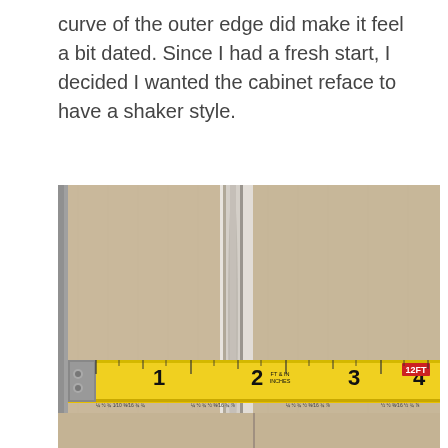curve of the outer edge did make it feel a bit dated. Since I had a fresh start, I decided I wanted the cabinet reface to have a shaker style.
[Figure (photo): Close-up photograph of MDF cabinet door panels laid flat, showing routed profiles and a yellow tape measure (12FT, marked in feet and inches) stretched across the bottom portion of the panels. The tape measure shows markings from 1 to 4+ inches with 'FT & IN INCHES' printed in the center.]